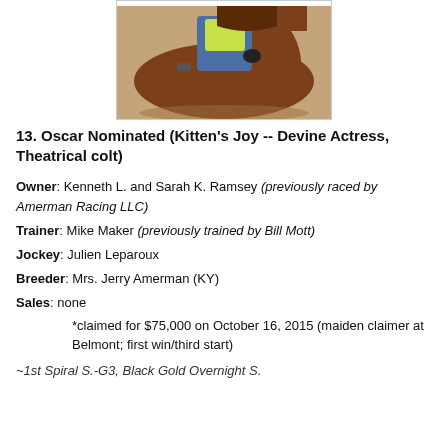[Figure (photo): Close-up photo of a chestnut horse being ridden, with a rider in jeans and a yellow vest visible; sandy track surface in background.]
13. Oscar Nominated (Kitten's Joy -- Devine Actress, Theatrical colt)
Owner: Kenneth L. and Sarah K. Ramsey (previously raced by Amerman Racing LLC)
Trainer: Mike Maker (previously trained by Bill Mott)
Jockey: Julien Leparoux
Breeder: Mrs. Jerry Amerman (KY)
Sales: none
        *claimed for $75,000 on October 16, 2015 (maiden claimer at Belmont; first win/third start)
~1st Spiral S.-G3, Black Gold Overnight S.